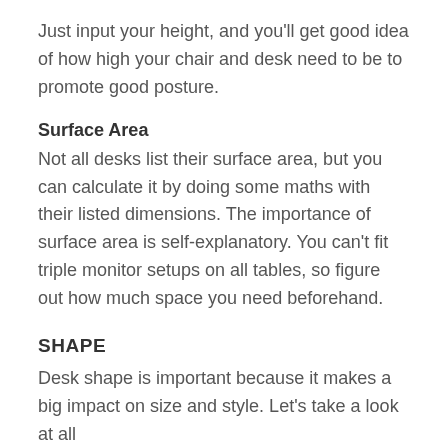Just input your height, and you'll get good idea of how high your chair and desk need to be to promote good posture.
Surface Area
Not all desks list their surface area, but you can calculate it by doing some maths with their listed dimensions. The importance of surface area is self-explanatory. You can't fit triple monitor setups on all tables, so figure out how much space you need beforehand.
SHAPE
Desk shape is important because it makes a big impact on size and style. Let's take a look at all